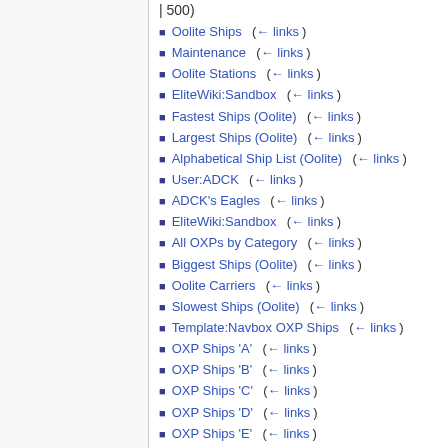| 500)
Oolite Ships  (← links)
Maintenance  (← links)
Oolite Stations  (← links)
EliteWiki:Sandbox  (← links)
Fastest Ships (Oolite)  (← links)
Largest Ships (Oolite)  (← links)
Alphabetical Ship List (Oolite)  (← links)
User:ADCK  (← links)
ADCK's Eagles  (← links)
EliteWiki:Sandbox  (← links)
All OXPs by Category  (← links)
Biggest Ships (Oolite)  (← links)
Oolite Carriers  (← links)
Slowest Ships (Oolite)  (← links)
Template:Navbox OXP Ships  (← links)
OXP Ships 'A'  (← links)
OXP Ships 'B'  (← links)
OXP Ships 'C'  (← links)
OXP Ships 'D'  (← links)
OXP Ships 'E'  (← links)
OXP Ships 'F'  (← links)